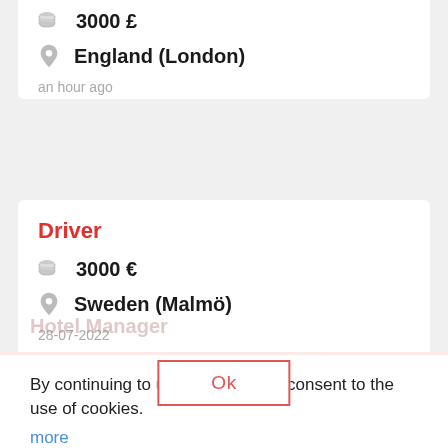3000 £
England (London)
an hour ago
Driver
3000 €
Sweden (Malmö)
28-07-2022
By continuing to use this site, you consent to the use of cookies.
more
Hotel Manager
Ok
Canada